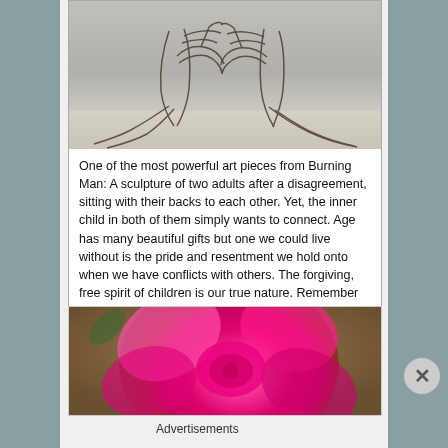[Figure (photo): Wire sculpture of two adult figures sitting back-to-back with inner child figures reaching toward each other, from Burning Man, against a flat desert landscape]
One of the most powerful art pieces from Burning Man: A sculpture of two adults after a disagreement, sitting with their backs to each other. Yet, the inner child in both of them simply wants to connect. Age has many beautiful gifts but one we could live without is the pride and resentment we hold onto when we have conflicts with others. The forgiving, free spirit of children is our true nature. Remember this when you feel stubborn.
[Figure (photo): Close-up photograph of a vibrant pink rose in full bloom with a blurred brown/tan background]
Advertisements